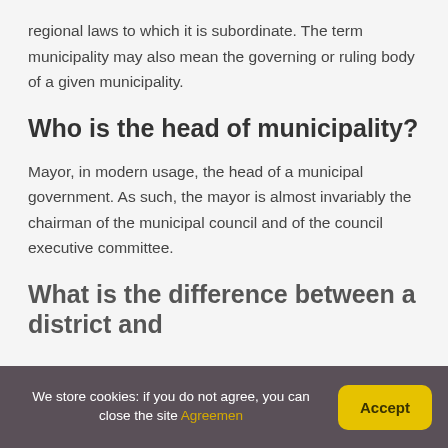regional laws to which it is subordinate. The term municipality may also mean the governing or ruling body of a given municipality.
Who is the head of municipality?
Mayor, in modern usage, the head of a municipal government. As such, the mayor is almost invariably the chairman of the municipal council and of the council executive committee.
What is the difference between a district and
We store cookies: if you do not agree, you can close the site Agreemen
Accept